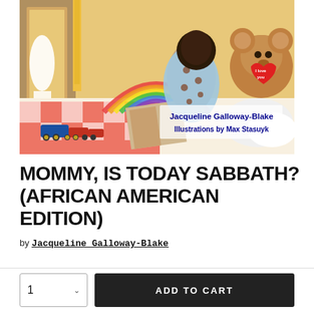[Figure (illustration): Book cover illustration showing a child reading a book on a bed with a rainbow and toys, a teddy bear holding a heart, with text 'Jacqueline Galloway-Blake / Illustrations by Max Stasuyk']
MOMMY, IS TODAY SABBATH? (AFRICAN AMERICAN EDITION)
by Jacqueline Galloway-Blake